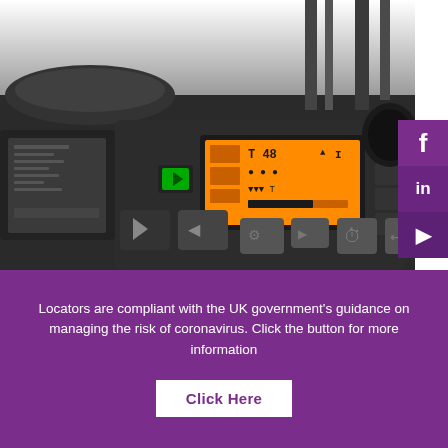[Figure (photo): Close-up photo of a forklift truck control panel with orange backlit display screen showing operational data, multiple buttons and controls, on a dark grey/black dashboard. The scene is in greyscale except for the orange illuminated display.]
Locators are compliant with the UK government's guidance on managing the risk of coronavirus. Click the button for more information
Click Here